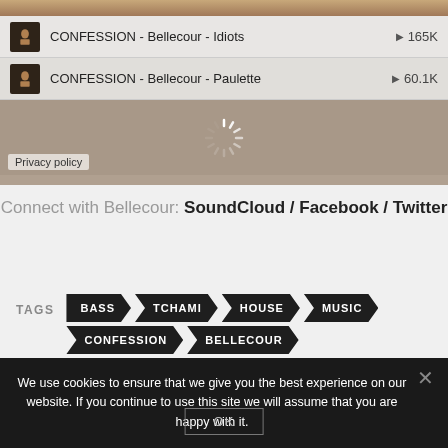[Figure (screenshot): SoundCloud embedded player widget showing two tracks: 'CONFESSION - Bellecour - Idiots' with 165K plays and 'CONFESSION - Bellecour - Paulette' with 60.1K plays, with a loading spinner and Privacy policy link]
Connect with Bellecour: SoundCloud / Facebook / Twitter
TAGS: BASS  TCHAMI  HOUSE  MUSIC  CONFESSION  BELLECOUR
We use cookies to ensure that we give you the best experience on our website. If you continue to use this site we will assume that you are happy with it.
OK